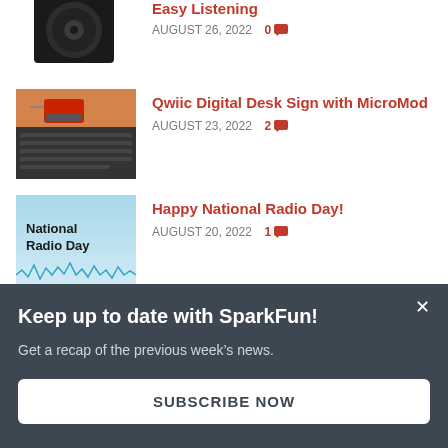[Figure (photo): Partial view of a speaker/subwoofer on white background, cropped at top of page]
Easy Listening
AUGUST 26, 2022  0 [comment icon]
[Figure (photo): Photo of a Qwiic digital display module connected to a keyboard on an orange surface]
Qwiic Digital Desk Sign with MicroMod
AUGUST 23, 2022  2 [comment icon]
[Figure (photo): National Radio Day graphic with teal/blue sky background and waveform at bottom, text says National Radio Day]
Happy National Radio Day!
AUGUST 20, 2022  1 [comment icon]
Keep up to date with SparkFun!
Get a recap of the previous week's news.
SUBSCRIBE NOW